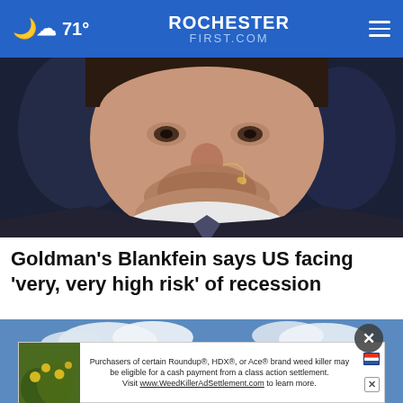71° ROCHESTERFIRST.COM
[Figure (photo): Close-up photo of a man in a suit with a beard, wearing a small ear microphone, speaking, against a dark blue background.]
Goldman's Blankfein says US facing 'very, very high risk' of recession
[Figure (photo): Photo of a house under construction or with storm/wind damage, blue sky with clouds in background.]
[Figure (photo): Advertisement thumbnail showing plants with yellow flowers.]
Purchasers of certain Roundup®, HDX®, or Ace® brand weed killer may be eligible for a cash payment from a class action settlement. Visit www.WeedKillerAdSettlement.com to learn more.